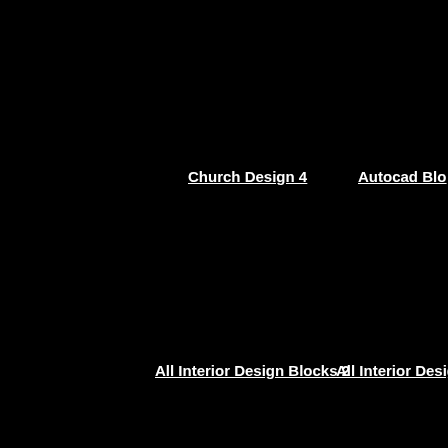[Figure (screenshot): Black background screenshot of a website showing architectural/CAD design thumbnails with labels. Top row shows 'Church Design 4' and 'Autocad Blo...' (truncated). Bottom row shows 'All Interior Design Blocks 2' and 'All Interior Desig...' (truncated). All images appear as black due to rendering.]
Church Design 4
Autocad Blo
All Interior Design Blocks 2
All Interior Desig